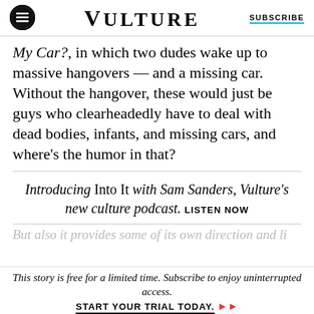VULTURE | SUBSCRIBE
My Car?, in which two dudes wake up to massive hangovers — and a missing car. Without the hangover, these would just be guys who clearheadedly have to deal with dead bodies, infants, and missing cars, and where's the humor in that?
Introducing Into It with Sam Sanders, Vulture's new culture podcast. LISTEN NOW
This story is free for a limited time. Subscribe to enjoy uninterrupted access. START YOUR TRIAL TODAY.